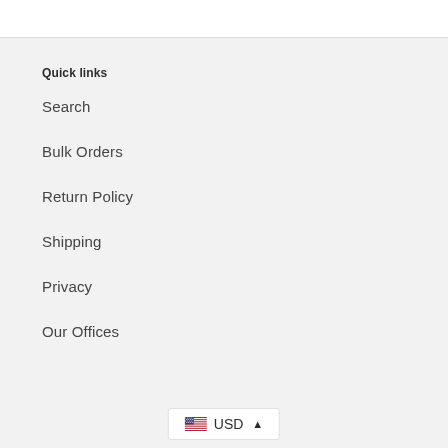Quick links
Search
Bulk Orders
Return Policy
Shipping
Privacy
Our Offices
USD